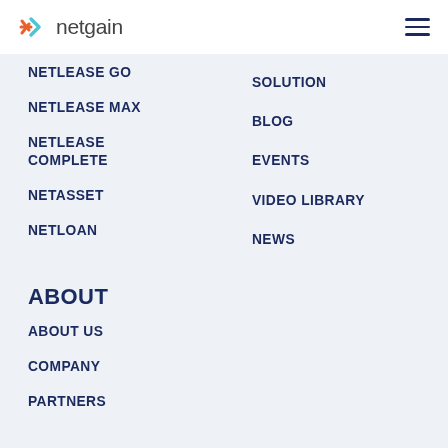netgain
NETLEASE GO
NETLEASE MAX
NETLEASE COMPLETE
NETASSET
NETLOAN
SOLUTION
BLOG
EVENTS
VIDEO LIBRARY
NEWS
ABOUT
ABOUT US
COMPANY
PARTNERS